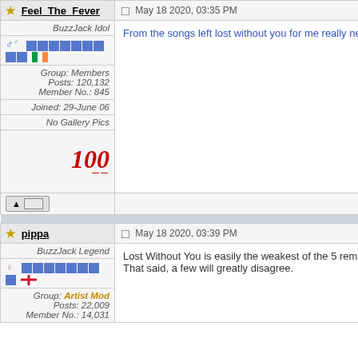Feel The Fever — May 18 2020, 03:35 PM
BuzzJack Idol
Group: Members
Posts: 120,132
Member No.: 845
Joined: 29-June 06
No Gallery Pics
From the songs left lost without you for me really ne
pippa — May 18 2020, 03:39 PM
BuzzJack Legend
Group: Artist Mod
Posts: 22,009
Member No.: 14,031
Lost Without You is easily the weakest of the 5 rema
That said, a few will greatly disagree.